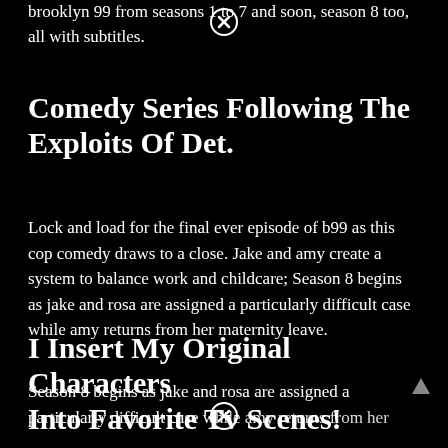brooklyn 99 from seasons 1 to 7 and soon, season 8 too, all with subtitles.
Comedy Series Following The Exploits Of Det.
Lock and load for the final ever episode of b99 as this cop comedy draws to a close. Jake and amy create a system to balance work and childcare; Season 8 begins as jake and rosa are assigned a particularly difficult case while amy returns from her maternity leave.
I Insert My Original Characters Into Favorite Tv Scenes!
Season 8 begins as jake and rosa are assigned a particularly difficult case while amy returns from her